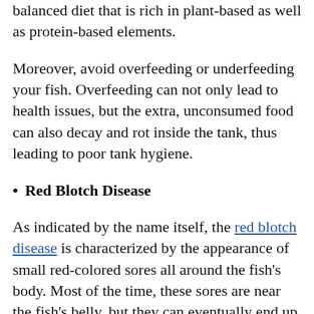balanced diet that is rich in plant-based as well as protein-based elements.
Moreover, avoid overfeeding or underfeeding your fish. Overfeeding can not only lead to health issues, but the extra, unconsumed food can also decay and rot inside the tank, thus leading to poor tank hygiene.
Red Blotch Disease
As indicated by the name itself, the red blotch disease is characterized by the appearance of small red-colored sores all around the fish's body. Most of the time, these sores are near the fish's belly, but they can eventually end up covering their entire body.
The two main factors that can contribute to this disease